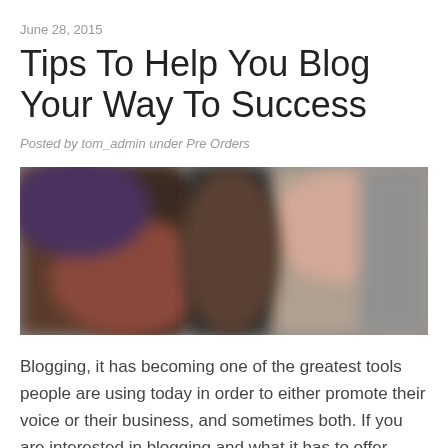June 28, 2015
Tips To Help You Blog Your Way To Success
Posted by tom_admin under Pre Orders
[Figure (photo): A blurred/out-of-focus photograph, showing warm brownish and grey tones, likely featuring people in an indoor setting.]
Blogging, it has becoming one of the greatest tools people are using today in order to either promote their voice or their business, and sometimes both. If you are interested in blogging and what it has to offer